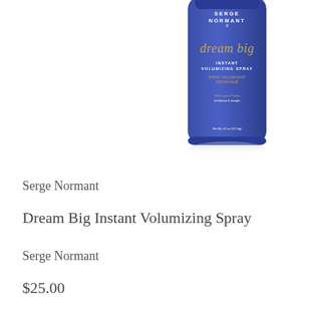[Figure (photo): A blue aerosol spray can of Serge Normant Dream Big Instant Volumizing Spray, partially cropped at top, positioned center-right of the image area with a soft reflection below.]
Serge Normant
Dream Big Instant Volumizing Spray
Serge Normant
$25.00